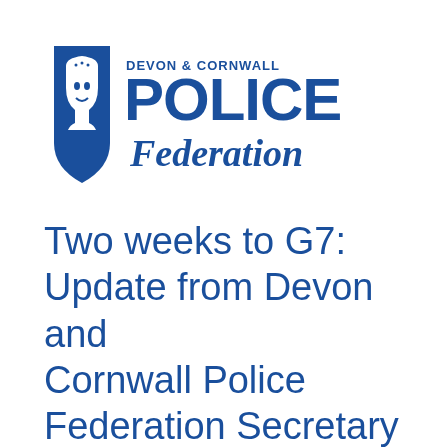[Figure (logo): Devon & Cornwall Police Federation logo — blue shield/face icon on left, 'DEVON & CORNWALL' in small caps above 'POLICE' in large bold blue letters, with 'Federation' in blue italic script below]
Two weeks to G7: Update from Devon and Cornwall Police Federation Secretary and